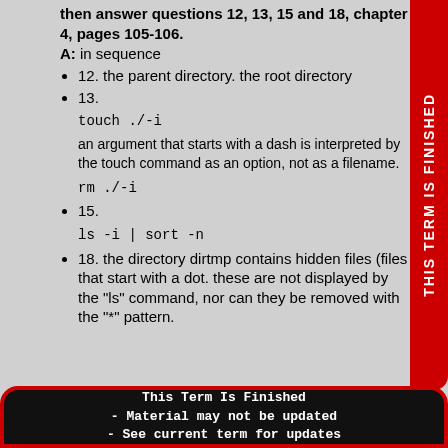then answer questions 12, 13, 15 and 18, chapter 4, pages 105-106.
A: in sequence
12. the parent directory. the root directory
13.
an argument that starts with a dash is interpreted by the touch command as an option, not as a filename.
15.
18. the directory dirtmp contains hidden files (files that start with a dot. these are not displayed by the "ls" command, nor can they be removed with the "*" pattern.
This Term Is Finished - Material may not be updated - See current term for updates